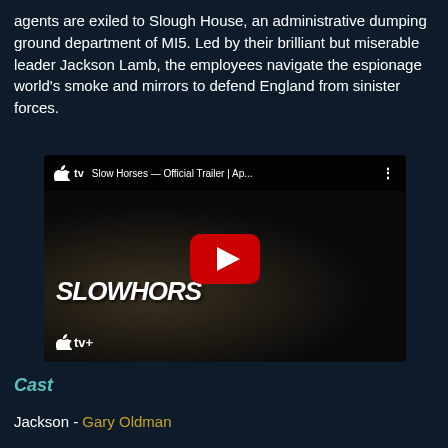agents are exiled to Slough House, an administrative dumping ground department of MI5. Led by their brilliant but miserable leader Jackson Lamb, the employees navigate the espionage world's smoke and mirrors to defend England from sinister forces.
[Figure (screenshot): YouTube embedded video thumbnail showing Slow Horses - Official Trailer | Ap... on Apple TV. Dark cinematic image showing two figures with 'SLOW HORSES' text overlaid, Apple TV+ logo, and YouTube play button.]
Cast
Jackson - Gary Oldman